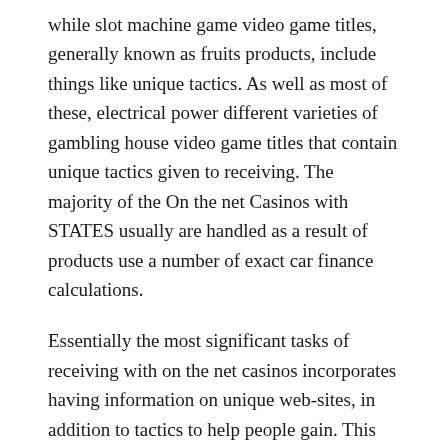while slot machine game video game titles, generally known as fruits products, include things like unique tactics. As well as most of these, electrical power different varieties of gambling house video game titles that contain unique tactics given to receiving. The majority of the On the net Casinos with STATES usually are handled as a result of products use a number of exact car finance calculations.
Essentially the most significant tasks of receiving with on the net casinos incorporates having information on unique web-sites, in addition to tactics to help people gain. This really is received as a result of almost endless volume of web-sites that include information on receiving tactics connected with unique video game titles made available from the on the net casinos. A lot of the most effective tactics can figure, in case you have chance on your side. Receiving on On the net Casinos with STATES